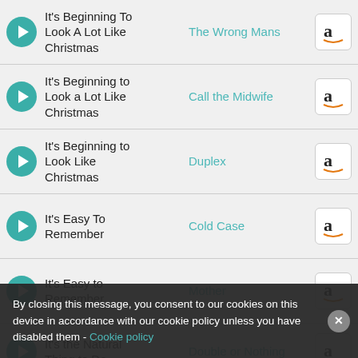It's Beginning To Look A Lot Like Christmas | The Wrong Mans
It's Beginning to Look a Lot Like Christmas | Call the Midwife
It's Beginning to Look Like Christmas | Duplex
It's Easy To Remember | Cold Case
It's Easy to Remember | Mother
It's the Natural Thing to Do | Double or Nothing
Joshafat | Paris Honeymoon
By closing this message, you consent to our cookies on this device in accordance with our cookie policy unless you have disabled them - Cookie policy